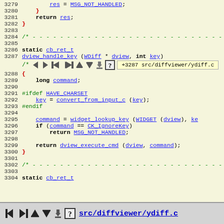[Figure (screenshot): Source code viewer showing C source file src/diffviewer/ydiff.c, lines 3279-3304, with navigation toolbar and tooltip showing +3287 src/diffviewer/ydiff.c]
src/diffviewer/ydiff.c navigation bar with icons